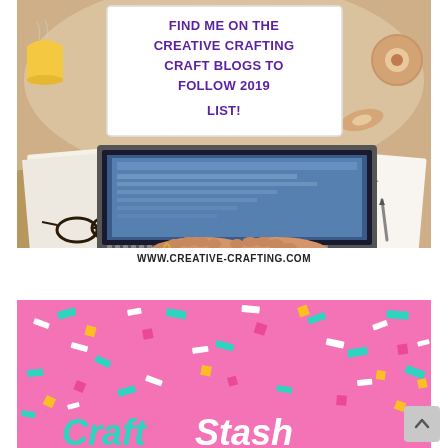[Figure (photo): Photo of a desk scene with a laptop being typed on, craft supplies in background, with a white overlay card reading 'FIND ME ON THE CREATIVE CRAFTING CRAFT BLOGS TO FOLLOW 2019 LIST!' and URL bar 'WWW.CREATIVE-CRAFTING.COM' at the bottom]
[Figure (illustration): Pink background with colorful confetti pieces (teal, pink, yellow, white rectangles) and CraftStash logo text in teal and white cursive/rounded font at the bottom]